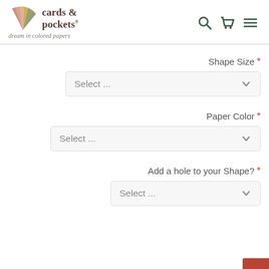cards & pockets — dream in colored papers
Shape Size *
Select ...
Paper Color *
Select ...
Add a hole to your Shape? *
Select ...